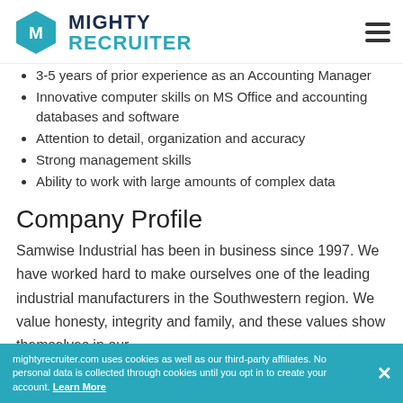MIGHTY RECRUITER
3-5 years of prior experience as an Accounting Manager
Innovative computer skills on MS Office and accounting databases and software
Attention to detail, organization and accuracy
Strong management skills
Ability to work with large amounts of complex data
Company Profile
Samwise Industrial has been in business since 1997. We have worked hard to make ourselves one of the leading industrial manufacturers in the Southwestern region. We value honesty, integrity and family, and these values show themselves in our
mightyrecruiter.com uses cookies as well as our third-party affiliates. No personal data is collected through cookies until you opt in to create your account. Learn More